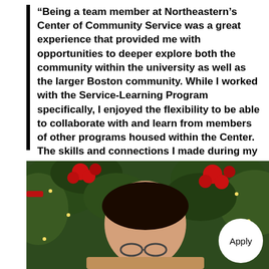“Being a team member at Northeastern’s Center of Community Service was a great experience that provided me with opportunities to deeper explore both the community within the university as well as the larger Boston community. While I worked with the Service-Learning Program specifically, I enjoyed the flexibility to be able to collaborate with and learn from members of other programs housed within the Center. The skills and connections I made during my time there continue to positively impact the work I am doing in the Boston community post-graduation.”
[Figure (photo): A person photographed from above, with dark hair and a red headband or hair accessory, surrounded by green Christmas tree branches and red poinsettia flowers. A circular white 'Apply' button overlay appears in the bottom right corner.]